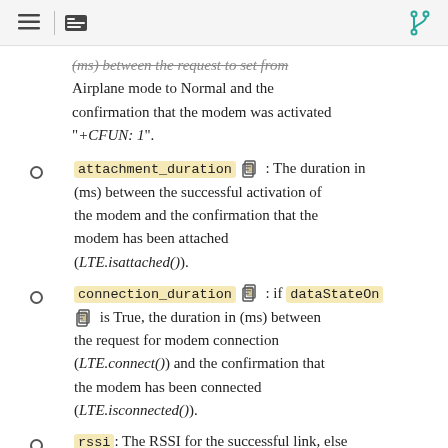Navigation header with menu, list, and git icons
(ms) between the request to set from Airplane mode to Normal and the confirmation that the modem was activated "+CFUN: 1".
attachment_duration [icon] : The duration in (ms) between the successful activation of the modem and the confirmation that the modem has been attached (LTE.isattached()).
connection_duration [icon] : if dataStateOn [icon] is True, the duration in (ms) between the request for modem connection (LTE.connect()) and the confirmation that the modem has been connected (LTE.isconnected()).
rssi: The RSSI for the successful link, else